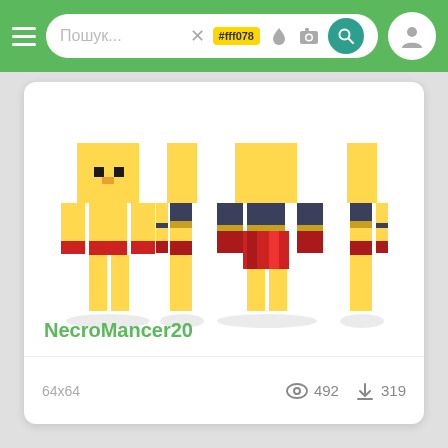Пошук... #fff078
[Figure (illustration): Minecraft skin shown in four views (front, back-left arm, front-facing, back-right arm). Character has yellow skin/body, a small orange beak on the face, and wears a dark navy/gold collar outfit with a red lower garment.]
NecroMancer20
64x64   492   319